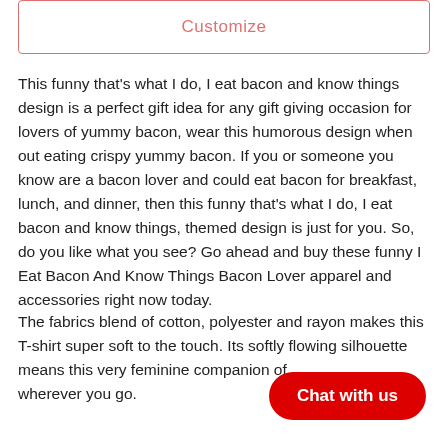[Figure (other): Customize button with pink/red border]
This funny that's what I do, I eat bacon and know things design is a perfect gift idea for any gift giving occasion for lovers of yummy bacon, wear this humorous design when out eating crispy yummy bacon. If you or someone you know are a bacon lover and could eat bacon for breakfast, lunch, and dinner, then this funny that's what I do, I eat bacon and know things, themed design is just for you. So, do you like what you see? Go ahead and buy these funny I Eat Bacon And Know Things Bacon Lover apparel and accessories right now today.
The fabrics blend of cotton, polyester and rayon makes this T-shirt super soft to the touch. Its softly flowing silhouette means this very feminine companion of... wherever you go.
[Figure (other): Red Chat with us button overlay]